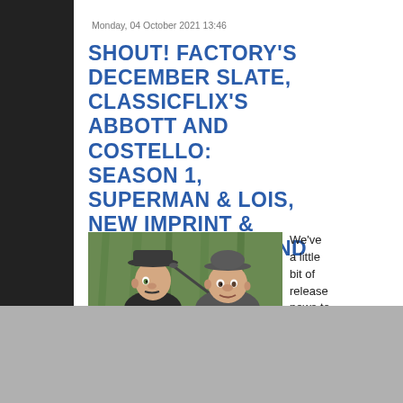Monday, 04 October 2021 13:46
SHOUT! FACTORY'S DECEMBER SLATE, CLASSICFLIX'S ABBOTT AND COSTELLO: SEASON 1, SUPERMAN & LOIS, NEW IMPRINT & TWILIGHT TIME, AND MORE
[Figure (illustration): Illustrated image of Abbott and Costello, two men wearing hats (fedora and bowler), one holding a cane, against a green curtain background]
We've a little bit of release news to start